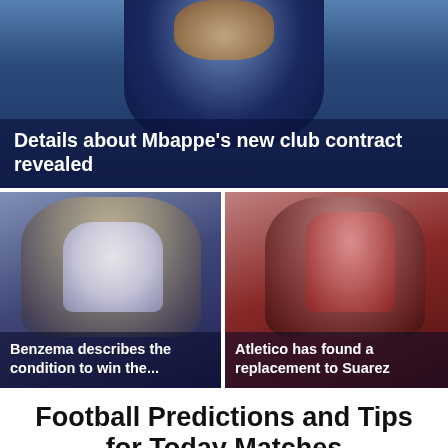[Figure (photo): Football player (Mbappe) in dark jersey against blue background with caption overlay]
Details about Mbappe's new club contract revealed
[Figure (photo): Football player (Benzema) in white Real Madrid Emirates jersey celebrating]
Benzema describes the condition to win the...
[Figure (photo): Football player (Suarez replacement) in red Atletico jersey with hand raised]
Atletico has found a replacement to Suarez
Football Predictions and Tips for Today Matches
Football predictions are one of the most frequent requests in the niche of betting on soccer. The popularity of the game itself boosted wagering interest in it, and professional tips are a common link in the chain of earning more. This article is dedicated to explaining all the vital